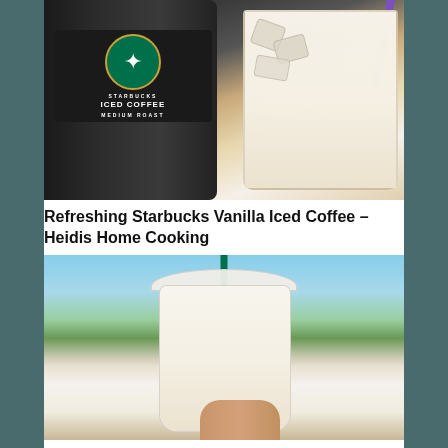[Figure (photo): Photo of a Starbucks Iced Coffee bottle (medium roast) next to a glass of iced coffee with a purple straw, on a white surface]
Refreshing Starbucks Vanilla Iced Coffee – Heidis Home Cooking
[Figure (photo): Photo of a Starbucks iced drink in a clear plastic cup with a green straw, held by a hand, outdoors with trees and blue sky in background]